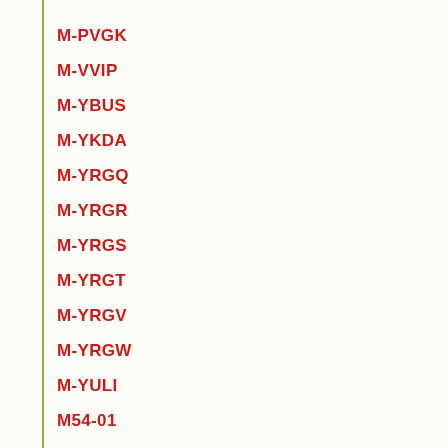M-PVGK
M-VVIP
M-YBUS
M-YKDA
M-YRGQ
M-YRGR
M-YRGS
M-YRGT
M-YRGV
M-YRGW
M-YULI
M54-01
M54-02
M54-03
M54-04